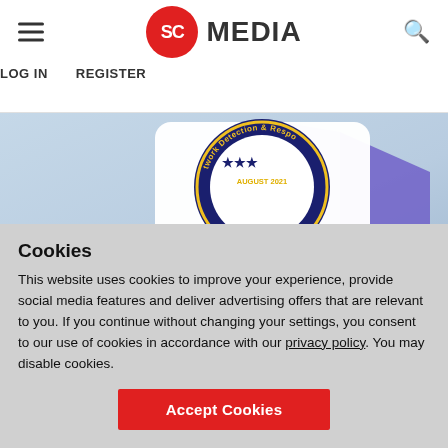SC MEDIA  LOG IN  REGISTER
[Figure (illustration): SC Media website header with hamburger menu icon, SC Media logo (red circle with SC text + MEDIA wordmark), and search icon, plus LOG IN and REGISTER navigation links. Below is a product badge card showing VMware NSX Network Detection and Response, August 2021, with circular badge design in dark blue/purple.]
Cookies
This website uses cookies to improve your experience, provide social media features and deliver advertising offers that are relevant to you. If you continue without changing your settings, you consent to our use of cookies in accordance with our privacy policy. You may disable cookies.
Accept Cookies